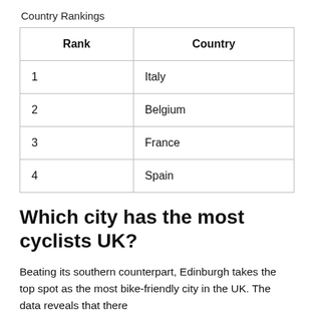Country Rankings
| Rank | Country |
| --- | --- |
| 1 | Italy |
| 2 | Belgium |
| 3 | France |
| 4 | Spain |
Which city has the most cyclists UK?
Beating its southern counterpart, Edinburgh takes the top spot as the most bike-friendly city in the UK. The data reveals that there